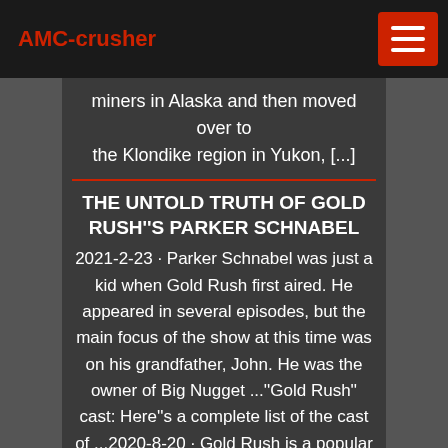AMC-crusher
miners in Alaska and then moved over to the Klondike region in Yukon, [...]
THE UNTOLD TRUTH OF GOLD RUSH''S PARKER SCHNABEL
2021-2-23 · Parker Schnabel was just a kid when Gold Rush first aired. He appeared in several episodes, but the main focus of the show at this time was on his grandfather, John. He was the owner of Big Nugget ...''Gold Rush'' cast: Here''s a complete list of the cast of ...2020-8-20 · Gold Rush is a popular TV series that airs on Discovery. The reality TV series follows a team of miners and depicts the mining efforts put in by the team in Klondike region of Dawson City, Yukon, Canada. The tenth season of the TV series showcased the mining efforts